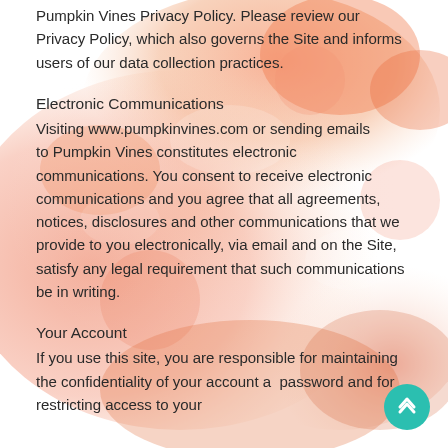Pumpkin Vines Privacy Policy. Please review our Privacy Policy, which also governs the Site and informs users of our data collection practices.
Electronic Communications
Visiting www.pumpkinvines.com or sending emails to Pumpkin Vines constitutes electronic communications. You consent to receive electronic communications and you agree that all agreements, notices, disclosures and other communications that we provide to you electronically, via email and on the Site, satisfy any legal requirement that such communications be in writing.
Your Account
If you use this site, you are responsible for maintaining the confidentiality of your account and password and for restricting access to your